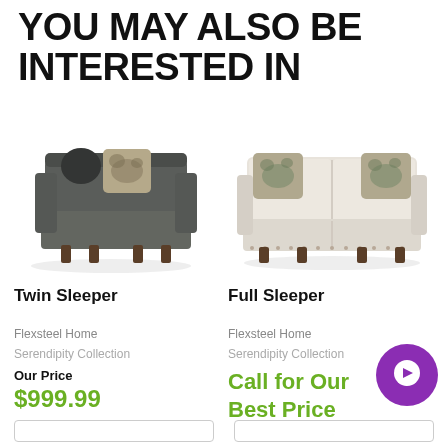YOU MAY ALSO BE INTERESTED IN
[Figure (photo): Dark gray fabric Twin Sleeper sofa shown from a back-side angle with decorative pillows]
[Figure (photo): Beige/cream fabric Full Sleeper sofa shown from the front with floral accent pillows]
Twin Sleeper
Full Sleeper
Flexsteel Home
Flexsteel Home
Serendipity Collection
Serendipity Collection
Our Price
$999.99
Call for Our Best Price